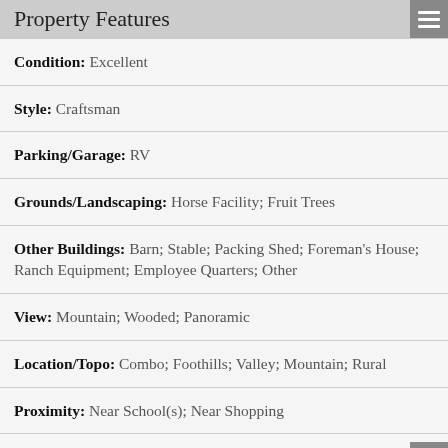Property Features
Condition: Excellent
Style: Craftsman
Parking/Garage: RV
Grounds/Landscaping: Horse Facility; Fruit Trees
Other Buildings: Barn; Stable; Packing Shed; Foreman's House; Ranch Equipment; Employee Quarters; Other
View: Mountain; Wooded; Panoramic
Location/Topo: Combo; Foothills; Valley; Mountain; Rural
Proximity: Near School(s); Near Shopping
Water/Sewer: Pvt Well In